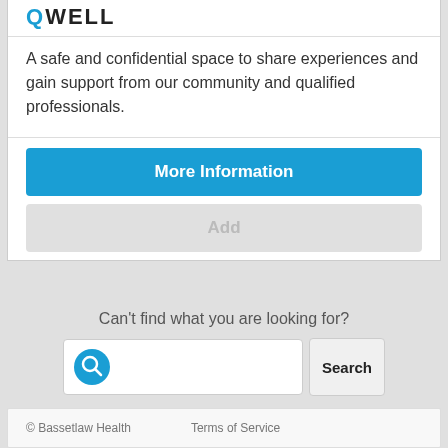[Figure (logo): QWELL logo text in bold dark letters with Q in blue]
A safe and confidential space to share experiences and gain support from our community and qualified professionals.
More Information
Add
Can't find what you are looking for?
[Figure (other): Search input box with blue magnifying glass icon and Search button]
© Bassetlaw Health   Terms of Service